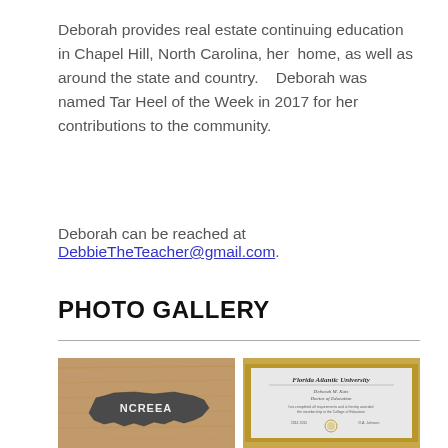Deborah provides real estate continuing education in Chapel Hill, North Carolina, her home, as well as around the state and country.   Deborah was named Tar Heel of the Week in 2017 for her contributions to the community.
Deborah can be reached at DebbieTheTeacher@gmail.com.
PHOTO GALLERY
[Figure (photo): Wooden plaque with North Carolina state shape cutout labeled NCREEA]
[Figure (photo): Framed Florida Atlantic University diploma or certificate in gold frame]